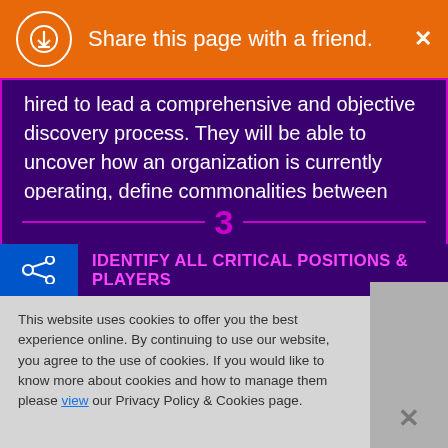Share this page with a friend.
hired to lead a comprehensive and objective discovery process. They will be able to uncover how an organization is currently operating, define commonalities between cross-functional teams, and deliver a favorable platform to unify the team's approach.
IDENTIFY ALL CRITICAL POSITIONS & PLAYERS
This website uses cookies to offer you the best experience online. By continuing to use our website, you agree to the use of cookies. If you would like to know more about cookies and how to manage them please view our Privacy Policy & Cookies page.